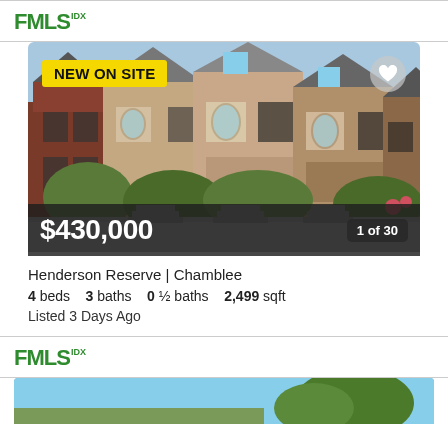FMLS IDX
[Figure (photo): Photo of Henderson Reserve townhouse row, brick exterior, blue sky, landscaping. Shows 'NEW ON SITE' badge, heart button, price $430,000, photo counter 1 of 30.]
Henderson Reserve | Chamblee
4 beds  3 baths  0 ½ baths  2,499 sqft
Listed 3 Days Ago
FMLS IDX